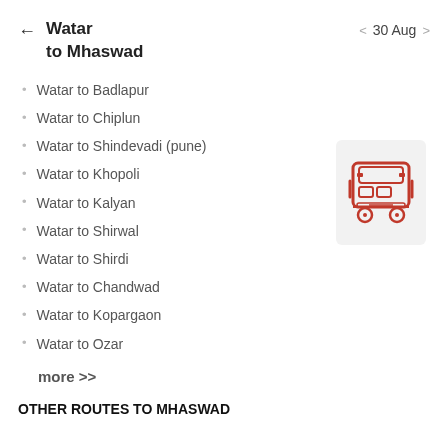Watar to Mhaswad   < 30 Aug >
Watar to Badlapur
Watar to Chiplun
Watar to Shindevadi (pune)
Watar to Khopoli
Watar to Kalyan
Watar to Shirwal
Watar to Shirdi
Watar to Chandwad
Watar to Kopargaon
Watar to Ozar
[Figure (illustration): Red bus icon on light grey square background]
more >>
OTHER ROUTES TO MHASWAD